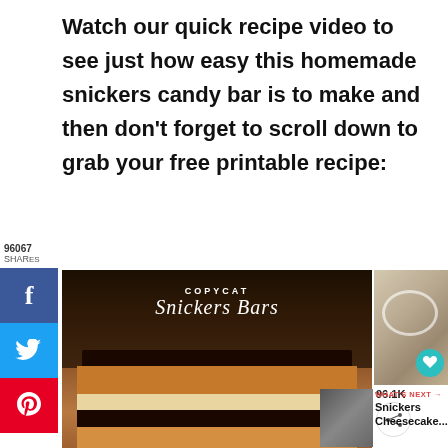Watch our quick recipe video to see just how easy this homemade snickers candy bar is to make and then don't forget to scroll down to grab your free printable recipe:
[Figure (screenshot): Social share sidebar with Facebook (f), Twitter (bird), and Pinterest (p) buttons showing 96067 shares]
[Figure (photo): Copycat Snickers Bars recipe video thumbnail showing stacked chocolate caramel nougat layers]
[Figure (photo): Right side panel showing a recipe photo with heart/save button, 96.1K count, share button, and 'WHAT'S NEXT: Snickers Cheesecake...' section]